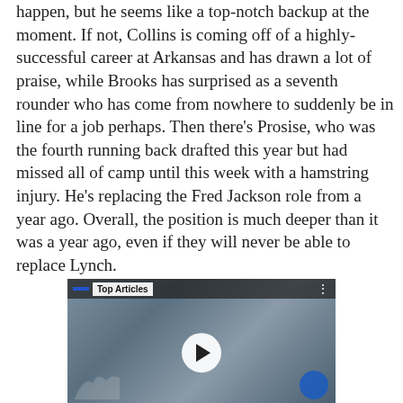happen, but he seems like a top-notch backup at the moment. If not, Collins is coming off of a highly-successful career at Arkansas and has drawn a lot of praise, while Brooks has surprised as a seventh rounder who has come from nowhere to suddenly be in line for a job perhaps. Then there's Prosise, who was the fourth running back drafted this year but had missed all of camp until this week with a hamstring injury. He's replacing the Fred Jackson role from a year ago. Overall, the position is much deeper than it was a year ago, even if they will never be able to replace Lynch.
[Figure (screenshot): Video player showing Top Articles with a play button overlay, sports players visible in background, blue bar and three-dot menu in top bar.]